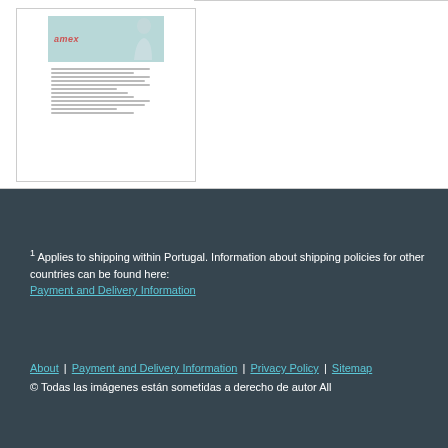[Figure (screenshot): Product listing thumbnail showing a light teal banner with italic brand name 'amex' in red and a small figure silhouette, below which are lines of placeholder text on a white background.]
1 Applies to shipping within Portugal. Information about shipping policies for other countries can be found here: Payment and Delivery Information
About | Payment and Delivery Information | Privacy Policy | Sitemap © Todas las imágenes están sometidas a derecho de autor All